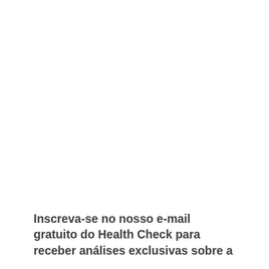Inscreva-se no nosso e-mail gratuito do Health Check para receber análises exclusivas sobre a